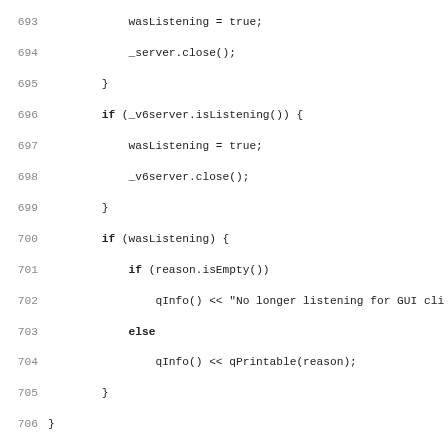Source code listing, lines 693-724, showing C++ code for Core::incomingConnection() function and preceding close logic.